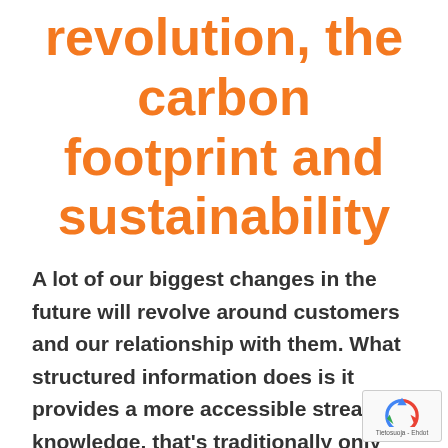revolution, the carbon footprint and sustainability
A lot of our biggest changes in the future will revolve around customers and our relationship with them. What structured information does is it provides a more accessible stream of knowledge, that's traditionally only available for limited people. That information can now be shared and viewed by the public so that with this drought that Auckland has been suffering from, we are able to engage ou…